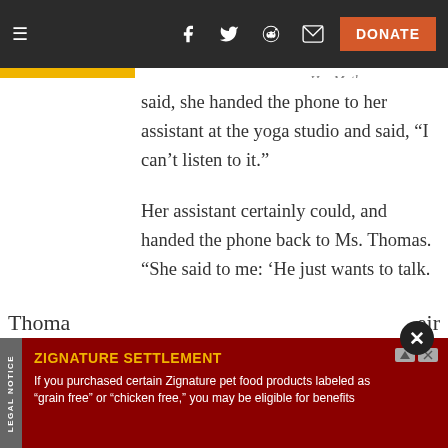Navigation bar with hamburger menu, social icons (Facebook, Twitter, Reddit, email), and DONATE button
Her Mother said, she handed the phone to her assistant at the yoga studio and said, “I can’t listen to it.”
Her assistant certainly could, and handed the phone back to Ms. Thomas. “She said to me: ‘He just wants to talk. I don’t know what the big deal is.’ ”
Thoma... eir
[Figure (screenshot): Advertisement banner for ZIGNATURE SETTLEMENT with legal notice label on left side and close button]